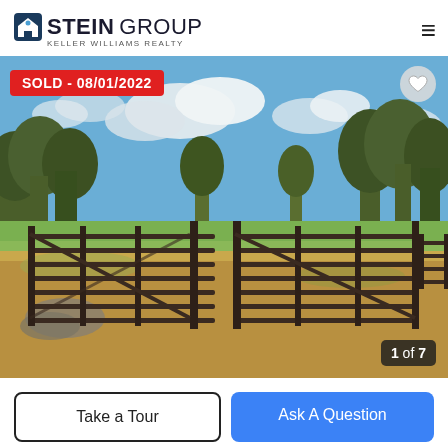STEIN GROUP | KELLER WILLIAMS REALTY
[Figure (photo): Outdoor rural/ranch property photo showing metal livestock gate/corral panels in foreground, dry golden grass field, green trees in background under partly cloudy blue sky. Red 'SOLD - 08/01/2022' badge in top-left. Heart icon button in top-right. '1 of 7' image counter badge in bottom-right.]
Take a Tour
Ask A Question